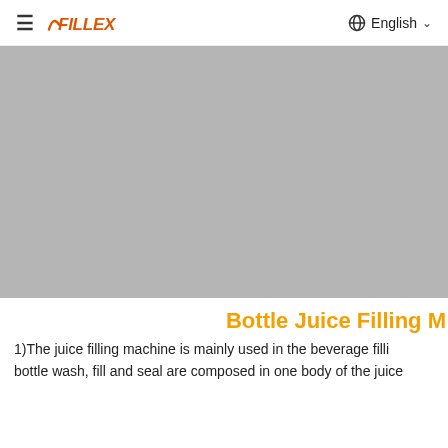≡ FILLEX  English ∨
[Figure (photo): Large grey placeholder image of a bottle juice filling machine product photo]
Bottle Juice Filling M
1)The juice filling machine is mainly used in the beverage filling bottle wash, fill and seal are composed in one body of the juice